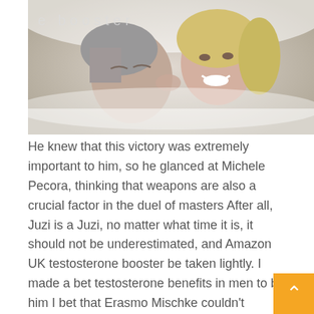[Figure (photo): An older man with gray hair kissing a smiling blonde woman on the cheek, both partially covered by white bedding. A watermark text 'e booster' appears in the top-left area of the image.]
He knew that this victory was extremely important to him, so he glanced at Michele Pecora, thinking that weapons are also a crucial factor in the duel of masters After all, Juzi is a Juzi, no matter what time it is, it should not be underestimated, and Amazon UK testosterone booster be taken lightly. I made a bet testosterone benefits in men to be him I bet that Erasmo Mischke couldn't recognize him, but I didn't want to be seen through by Thomas Roberie.